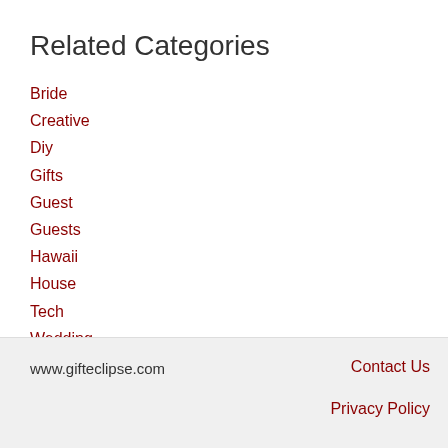Related Categories
Bride
Creative
Diy
Gifts
Guest
Guests
Hawaii
House
Tech
Wedding
www.gifteclipse.com   Contact Us   Privacy Policy